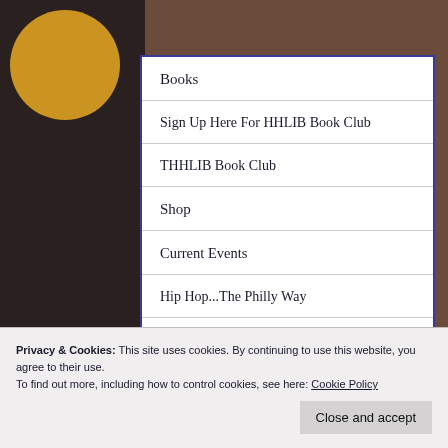[Figure (screenshot): Website navigation menu overlay on hip-hop themed background with dark left panel, gold circle graphic, and blue-bordered white navigation panel]
Books
Sign Up Here For HHLIB Book Club
THHLIB Book Club
Shop
Current Events
Hip Hop...The Philly Way
R.I.P.
Privacy & Cookies: This site uses cookies. By continuing to use this website, you agree to their use.
To find out more, including how to control cookies, see here: Cookie Policy
Close and accept